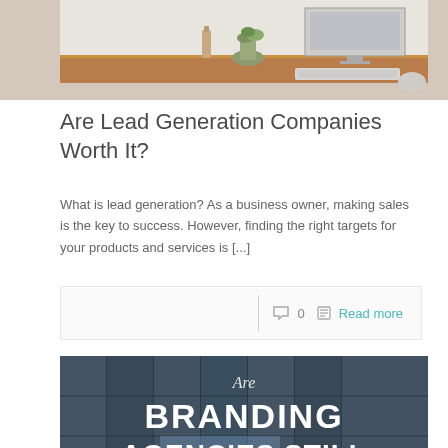[Figure (photo): Office desk with computer monitor, plant, and bottle on wooden surface]
Are Lead Generation Companies Worth It?
What is lead generation? As a business owner, making sales is the key to success. However, finding the right targets for your products and services is [...]
0   Read more
[Figure (photo): Are Branding Agencies Still Relevant? - text overlay on glass building facade]